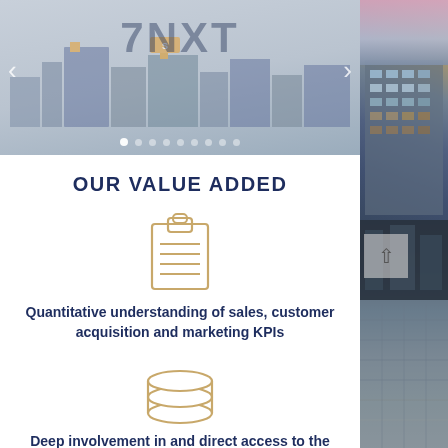[Figure (screenshot): Slider/carousel image showing city building with 7NXT logo overlay and navigation arrows, with dots pagination below]
OUR VALUE ADDED
[Figure (illustration): Clipboard/document icon in gold/beige outline style]
Quantitative understanding of sales, customer acquisition and marketing KPIs
[Figure (illustration): Stacked layers icon in gold/beige outline style]
Deep involvement in and direct access to the German-speaking tech
[Figure (photo): Right side panel showing two building/architectural photos stacked vertically]